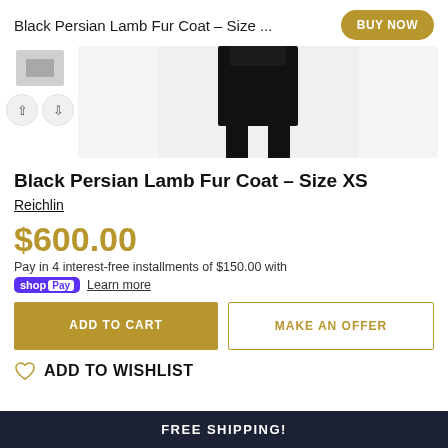Black Persian Lamb Fur Coat - Size ...
[Figure (photo): Product image of a Black Persian Lamb Fur Coat showing black textured fur coat on white background, with thumbnail navigation arrows on the left]
Black Persian Lamb Fur Coat - Size XS
Reichlin
$600.00
Pay in 4 interest-free installments of $150.00 with
shop Pay Learn more
ADD TO CART
MAKE AN OFFER
ADD TO WISHLIST
FREE SHIPPING!